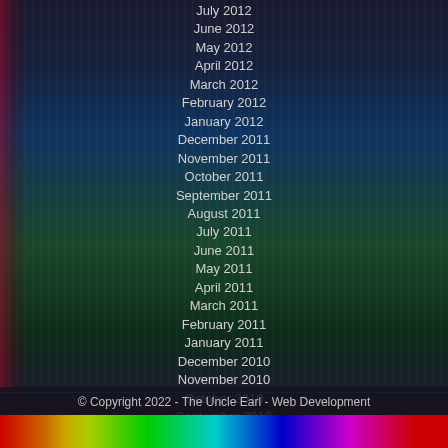July 2012
June 2012
May 2012
April 2012
March 2012
February 2012
January 2012
December 2011
November 2011
October 2011
September 2011
August 2011
July 2011
June 2011
May 2011
April 2011
March 2011
February 2011
January 2011
December 2010
November 2010
October 2010
September 2010
August 2010
© Copyright 2022 - The Uncle Earl - Web Development